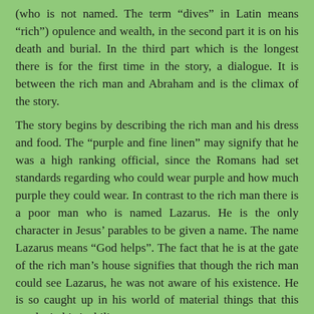(who is not named. The term “dives” in Latin means “rich”) opulence and wealth, in the second part it is on his death and burial. In the third part which is the longest there is for the first time in the story, a dialogue. It is between the rich man and Abraham and is the climax of the story. The story begins by describing the rich man and his dress and food. The “purple and fine linen” may signify that he was a high ranking official, since the Romans had set standards regarding who could wear purple and how much purple they could wear. In contrast to the rich man there is a poor man who is named Lazarus. He is the only character in Jesus’ parables to be given a name. The name Lazarus means “God helps”. The fact that he is at the gate of the rich man’s house signifies that though the rich man could see Lazarus, he was not aware of his existence. He is so caught up in his world of material things that this results in his inability to see